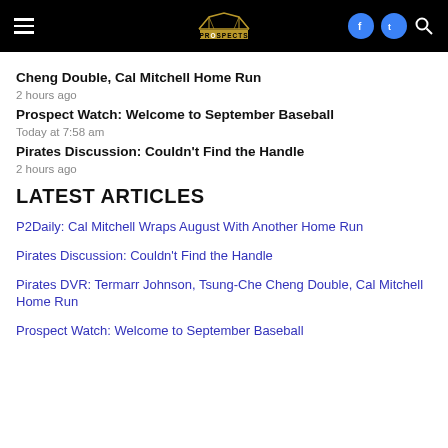Prospects navigation bar
Cheng Double, Cal Mitchell Home Run
2 hours ago
Prospect Watch: Welcome to September Baseball
Today at 7:58 am
Pirates Discussion: Couldn’t Find the Handle
2 hours ago
LATEST ARTICLES
P2Daily: Cal Mitchell Wraps August With Another Home Run
Pirates Discussion: Couldn’t Find the Handle
Pirates DVR: Termarr Johnson, Tsung-Che Cheng Double, Cal Mitchell Home Run
Prospect Watch: Welcome to September Baseball